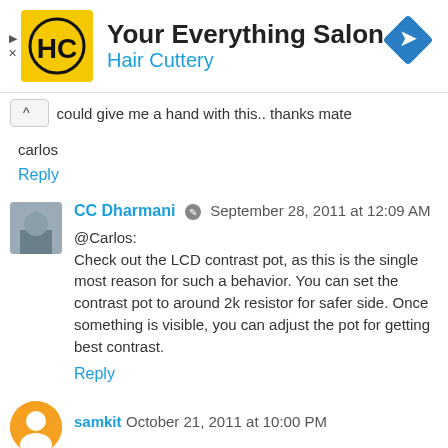[Figure (infographic): Advertisement banner for Your Everything Salon / Hair Cuttery with yellow HC logo and blue navigation arrow icon]
could give me a hand with this.. thanks mate
carlos
Reply
CC Dharmani September 28, 2011 at 12:09 AM
@Carlos:
Check out the LCD contrast pot, as this is the single most reason for such a behavior. You can set the contrast pot to around 2k resistor for safer side. Once something is visible, you can adjust the pot for getting best contrast.
Reply
samkit October 21, 2011 at 10:00 PM